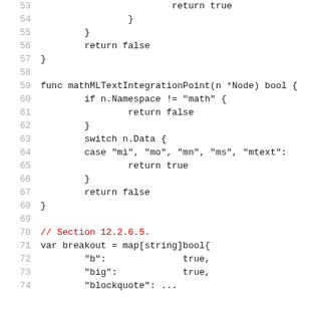53    return true
54    }
55  }
56  return false
57 }
58
59 func mathMLTextIntegrationPoint(n *Node) bool {
60   if n.Namespace != "math" {
61     return false
62   }
63   switch n.Data {
64   case "mi", "mo", "mn", "ms", "mtext":
65     return true
66   }
67   return false
68 }
69
70 // Section 12.2.6.5.
71 var breakout = map[string]bool{
72   "b":   true,
73   "big":  true,
74   "blockquote": ...